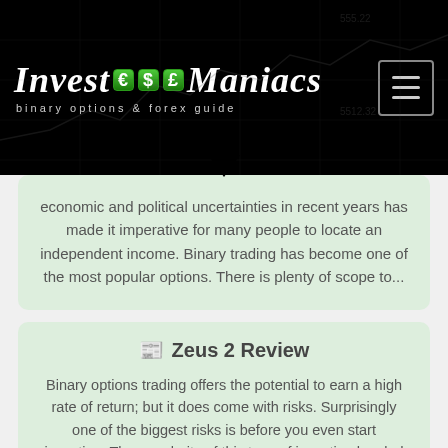[Figure (logo): Invest Euro Dollar Pound Maniacs logo with green currency badges on dark background, subtitle 'binary options & forex guide']
economic and political uncertainties in recent years has made it imperative for many people to locate an independent income. Binary trading has become one of the most popular options. There is plenty of scope to...
Zeus 2 Review
Binary options trading offers the potential to earn a high rate of return; but it does come with risks. Surprisingly one of the biggest risks is before you even start investing. The popularity of this type of investing has led to a large number of dubious operations. The quest...